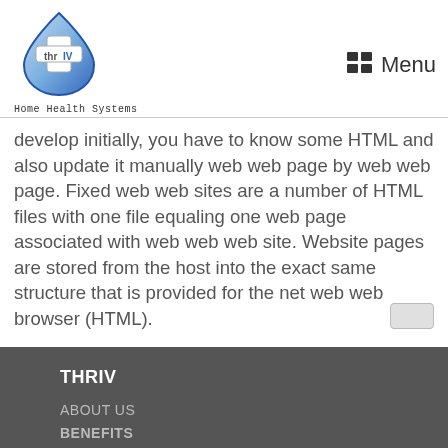[Figure (logo): thrIV Home Health Systems logo — blue teardrop shape with a white medical cross and 'thrIV' text inside]
Home Health Systems
[Figure (other): Menu icon (grid of squares) with 'Menu' label]
develop initially, you have to know some HTML and also update it manually web web page by web web page. Fixed web web sites are a number of HTML files with one file equaling one web page associated with web web web site. Website pages are stored from the host into the exact same structure that is provided for the net web web browser (HTML).
THRIV
ABOUT US
BENEFITS